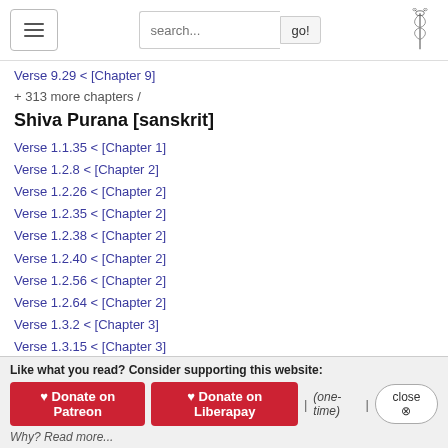search... go!
Verse 9.29 < [Chapter 9]
+ 313 more chapters /
Shiva Purana [sanskrit]
Verse 1.1.35 < [Chapter 1]
Verse 1.2.8 < [Chapter 2]
Verse 1.2.26 < [Chapter 2]
Verse 1.2.35 < [Chapter 2]
Verse 1.2.38 < [Chapter 2]
Verse 1.2.40 < [Chapter 2]
Verse 1.2.56 < [Chapter 2]
Verse 1.2.64 < [Chapter 2]
Verse 1.3.2 < [Chapter 3]
Verse 1.3.15 < [Chapter 3]
Verse 1.3.20 < [Chapter 3]
Verse 1.4.1 < [Chapter 4]
Like what you read? Consider supporting this website:
♥ Donate on Patreon   ♥ Donate on Liberapay   | (one-time) |   close ⓧ
Why? Read more...